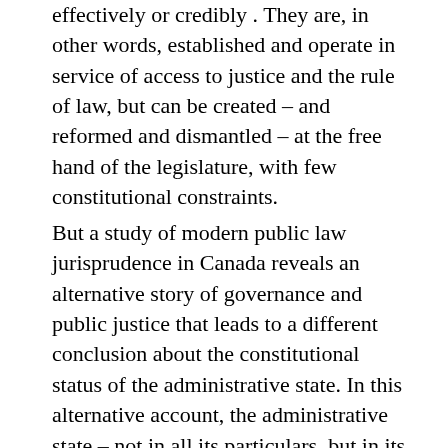effectively or credibly . They are, in other words, established and operate in service of access to justice and the rule of law, but can be created – and reformed and dismantled – at the free hand of the legislature, with few constitutional constraints.
But a study of modern public law jurisprudence in Canada reveals an alternative story of governance and public justice that leads to a different conclusion about the constitutional status of the administrative state. In this alternative account, the administrative state – not in all its particulars, but in its essence and function – is a necessary or essential feature of Canada's constitutional architecture. It